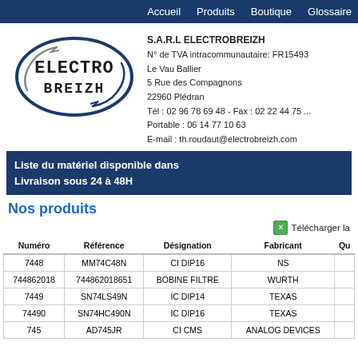Accueil   Produits   Boutique   Glossaire
[Figure (logo): Electro Breizh company logo — oval ellipse with swoosh arrows and bold text ELECTRO BREIZH]
S.A.R.L ELECTROBREIZH
N° de TVA intracommunautaire: FR15493...
Le Vau Ballier
5 Rue des Compagnons
22960 Plédran
Tél : 02 96 78 69 48 - Fax : 02 22 44 75 ...
Portable : 06 14 77 10 63
E-mail : th.roudaut@electrobreizh.com
Liste du matériel disponible dans... Livraison sous 24 à 48H
Nos produits
Télécharger la...
| Numéro | Référence | Désignation | Fabricant | Qu |
| --- | --- | --- | --- | --- |
| 7448 | MM74C48N | CI DIP16 | NS |  |
| 744862018 | 744862018651 | BOBINE FILTRE | WURTH |  |
| 7449 | SN74LS49N | IC DIP14 | TEXAS |  |
| 74490 | SN74HC490N | IC DIP16 | TEXAS |  |
| 745 | AD745JR | CI CMS | ANALOG DEVICES |  |